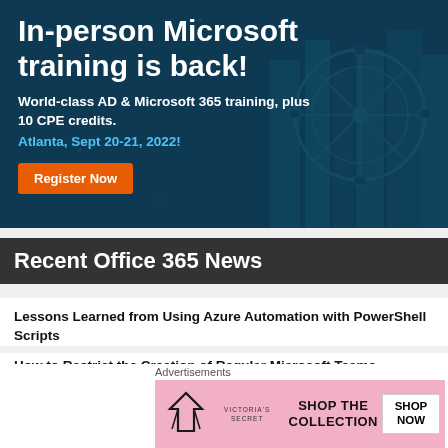[Figure (illustration): Dark blue banner advertisement for in-person Microsoft training event with city skyline and ferris wheel background]
In-person Microsoft training is back!
World-class AD & Microsoft 365 training, plus 10 CPE credits.
Atlanta, Sept 20-21, 2022!
Register Now
Recent Office 365 News
Lessons Learned from Using Azure Automation with PowerShell Scripts
How to Restrict the Creation of Regular Microsoft Teams Channels
[Figure (illustration): Victoria's Secret advertisement banner - Shop The Collection, Shop Now]
Advertisements